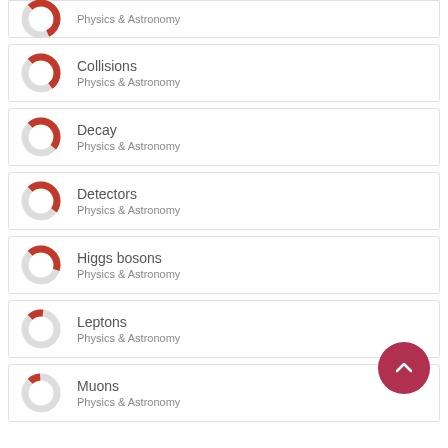Physics & Astronomy
Collisions
Physics & Astronomy
Decay
Physics & Astronomy
Detectors
Physics & Astronomy
Higgs bosons
Physics & Astronomy
Leptons
Physics & Astronomy
Muons
Physics & Astronomy